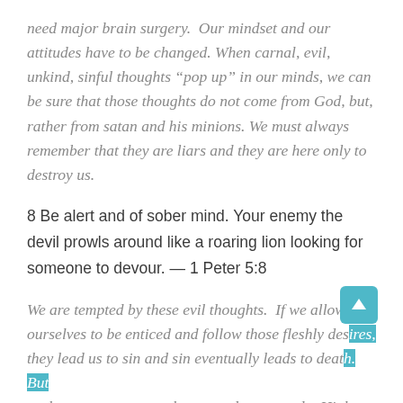need major brain surgery.  Our mindset and our attitudes have to be changed. When carnal, evil, unkind, sinful thoughts “pop up” in our minds, we can be sure that those thoughts do not come from God, but, rather from satan and his minions. We must always remember that they are liars and they are here only to destroy us.
8 Be alert and of sober mind. Your enemy the devil prowls around like a roaring lion looking for someone to devour. — 1 Peter 5:8
We are tempted by these evil thoughts.  If we allow ourselves to be enticed and follow those fleshly desires, they lead us to sin and sin eventually leads to death. But we have a way out, we have a redeemer and a High Priest who has suffered those same temptations and